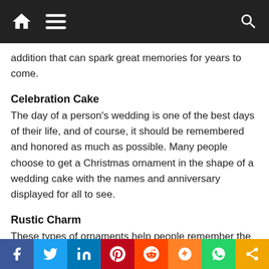Navigation bar with home, menu, and search icons
addition that can spark great memories for years to come.
Celebration Cake
The day of a person's wedding is one of the best days of their life, and of course, it should be remembered and honored as much as possible. Many people choose to get a Christmas ornament in the shape of a wedding cake with the names and anniversary displayed for all to see.
Rustic Charm
These types of ornaments help people remember the Christmas's of their childhoods, where there was a beauty in the simplicity around us. Who can say no to something that stirs up feelings of nostalgia while still
Social share bar: Facebook, Twitter, LinkedIn, Pinterest, Reddit, Mix, WhatsApp, More